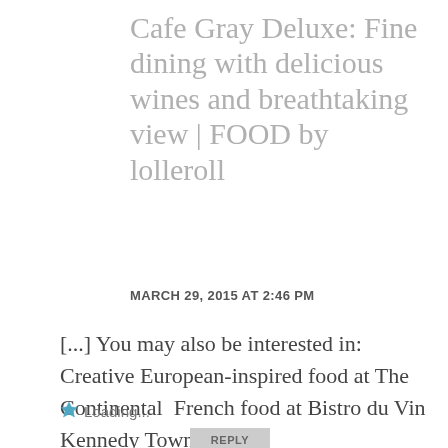Cafe Gray Deluxe: Fine dining with delicious wines and breathtaking view | FOOD by lolleroll
MARCH 29, 2015 AT 2:46 PM
[...] You may also be interested in: Creative European-inspired food at The Continental  French food at Bistro du Vin Kennedy Town [...]
Loading...